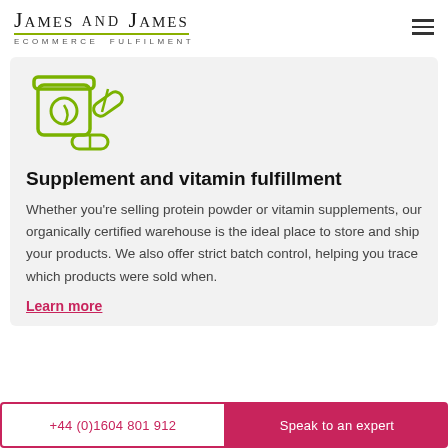James and James eCommerce Fulfilment
[Figure (illustration): Green line-art icon of a supplement jar and capsule pills]
Supplement and vitamin fulfillment
Whether you're selling protein powder or vitamin supplements, our organically certified warehouse is the ideal place to store and ship your products. We also offer strict batch control, helping you trace which products were sold when.
Learn more
+44 (0)1604 801 912 | Speak to an expert